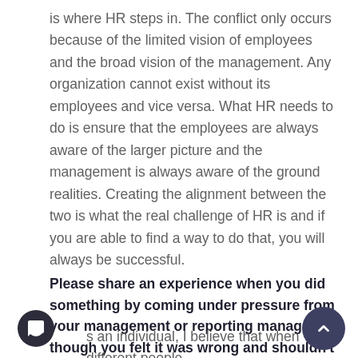is where HR steps in. The conflict only occurs because of the limited vision of employees and the broad vision of the management. Any organization cannot exist without its employees and vice versa. What HR needs to do is ensure that the employees are always aware of the larger picture and the management is always aware of the ground realities. Creating the alignment between the two is what the real challenge of HR is and if you are able to find a way to do that, you will always be successful.
Please share an experience when you did something by coming under pressure from your management or reporting manager though you felt it was wrong and shouldn't have been done?
s an individual, I believe that when different people